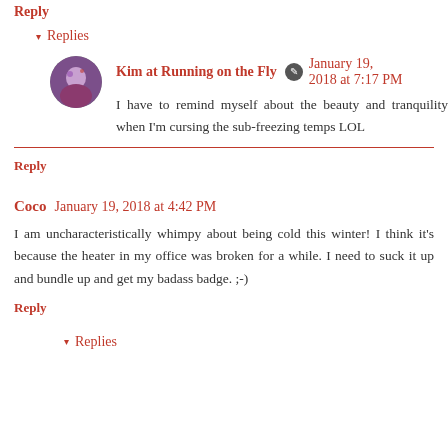Reply
▾ Replies
Kim at Running on the Fly ✎ January 19, 2018 at 7:17 PM
I have to remind myself about the beauty and tranquility when I'm cursing the sub-freezing temps LOL
Reply
Coco January 19, 2018 at 4:42 PM
I am uncharacteristically whimpy about being cold this winter! I think it's because the heater in my office was broken for a while. I need to suck it up and bundle up and get my badass badge. ;-)
Reply
▾ Replies